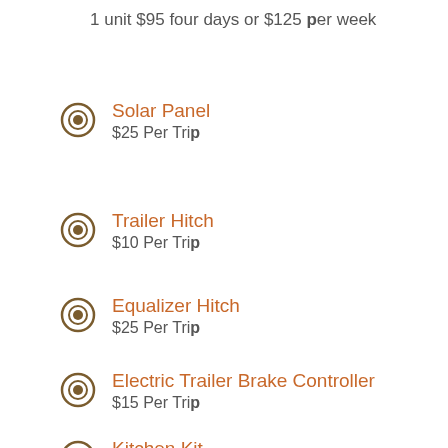1 unit $95 four days or $125 per week
Solar Panel
$25 Per Trip
Trailer Hitch
$10 Per Trip
Equalizer Hitch
$25 Per Trip
Electric Trailer Brake Controller
$15 Per Trip
Kitchen Kit
$55 Per Trip